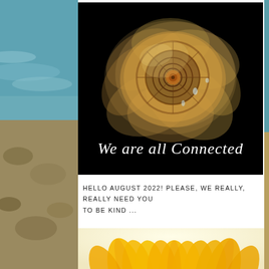[Figure (photo): Nautilus shell cross-section on black background with text 'We are all Connected' in white italic serif font]
HELLO AUGUST 2022! PLEASE, WE REALLY, REALLY NEED YOU TO BE KIND ...
[Figure (photo): Close-up of a yellow and orange sunflower from below, on a light background]